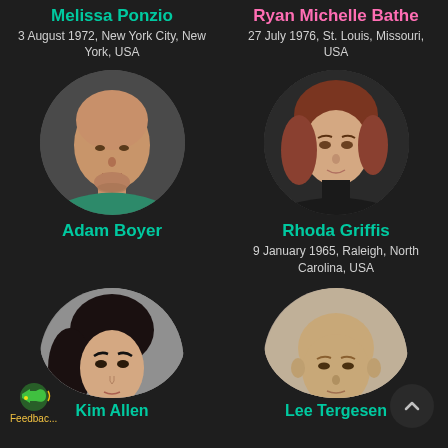Melissa Ponzio
3 August 1972, New York City, New York, USA
Ryan Michelle Bathe
27 July 1976, St. Louis, Missouri, USA
[Figure (photo): Circular portrait photo of Adam Boyer, a man with a shaved head wearing a green top]
[Figure (photo): Circular portrait photo of Rhoda Griffis, a woman with reddish-brown hair wearing a black turtleneck]
Adam Boyer
Rhoda Griffis
9 January 1965, Raleigh, North Carolina, USA
[Figure (photo): Circular portrait photo of Kim Allen, a young woman with dark hair wearing a grey top]
[Figure (photo): Circular portrait photo of Lee Tergesen, a man with a shaved head wearing a dark shirt]
Kim Allen
Lee Tergesen